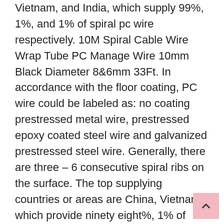Vietnam, and India, which supply 99%, 1%, and 1% of spiral pc wire respectively. 10M Spiral Cable Wire Wrap Tube PC Manage Wire 10mm Black Diameter 8&6mm 33Ft. In accordance with the floor coating, PC wire could be labeled as: no coating prestressed metal wire, prestressed epoxy coated steel wire and galvanized prestressed steel wire. Generally, there are three – 6 consecutive spiral ribs on the surface. The top supplying countries or areas are China, Vietnam, which provide ninety eight%, 1% of spiral ribs PC wire respectively.
Based mostly on sort, the market is segmented into prestressed PC metal wire, plain PC wire, indented PC wire, and spiral ribbed PC wire. There are 864 spiral ribs PC